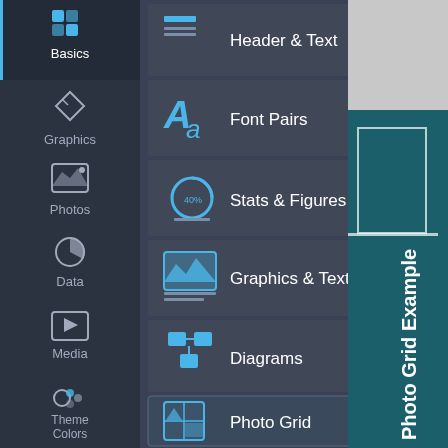[Figure (screenshot): UI sidebar navigation with icons for Basics, Graphics, Photos, Data, Media, Theme Colors, My Files, and grid icon]
[Figure (screenshot): Main menu panel showing expandable items: Header & Text, Font Pairs, Stats & Figures, Graphics & Text, Diagrams, Photo Grid (selected/highlighted)]
[Figure (screenshot): Right side panel showing teal background with vertically rotated text 'Photo Grid Example']